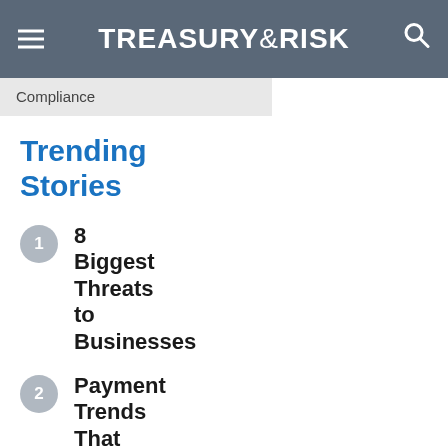TREASURY & RISK
Compliance
Trending Stories
8 Biggest Threats to Businesses
Payment Trends That Should Be on Every